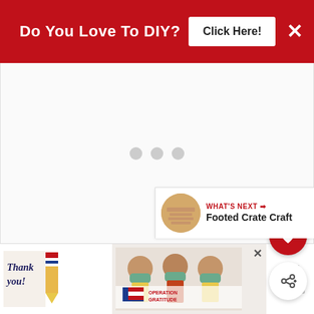Do You Love To DIY? Click Here! ×
[Figure (other): Loading placeholder with three grey dots on a light background]
[Figure (other): Red circular favorite/heart button]
[Figure (other): White circular share button with plus icon]
[Figure (other): WHAT'S NEXT panel with thumbnail image and title 'Footed Crate Craft']
[Figure (other): Advertisement banner: Thank You / Operation Gratitude with image of people holding items]